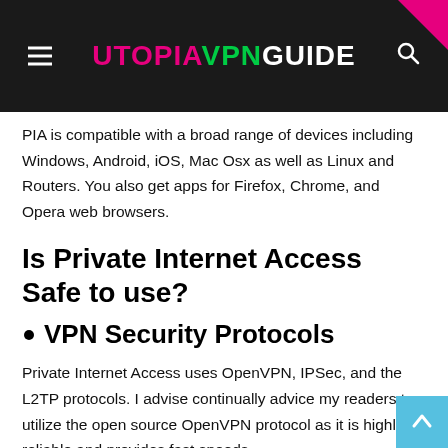UTOPIAVPNGUIDE
PIA is compatible with a broad range of devices including Windows, Android, iOS, Mac Osx as well as Linux and Routers. You also get apps for Firefox, Chrome, and Opera web browsers.
Is Private Internet Access Safe to use?
VPN Security Protocols
Private Internet Access uses OpenVPN, IPSec, and the L2TP protocols. I advise continually advice my readers to utilize the open source OpenVPN protocol as it is highly reliable and provides fast speeds.